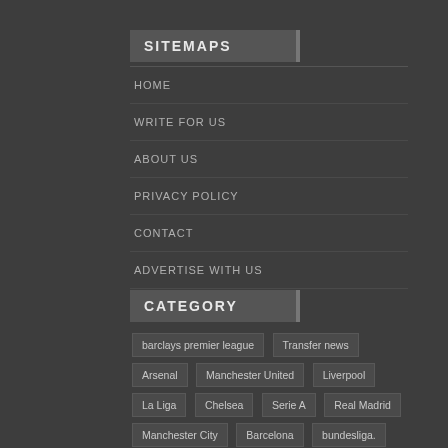SITEMAPS
HOME
WRITE FOR US
ABOUT US
PRIVACY POLICY
CONTACT
ADVERTISE WITH US
CATEGORY
barclays premier league
Transfer news
Arsenal
Manchester United
Liverpool
La Liga
Chelsea
Serie A
Real Madrid
Manchester City
Barcelona
bundesliga.